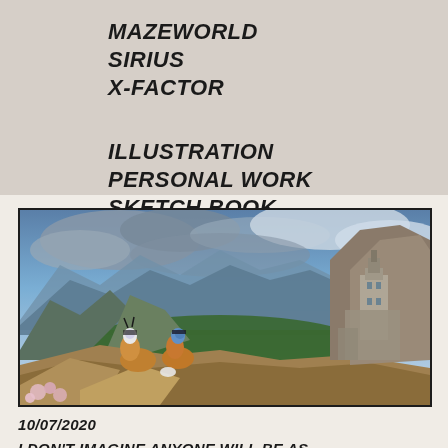MAZEWORLD
SIRIUS
X-FACTOR
ILLUSTRATION
PERSONAL WORK
SKETCH BOOK
[Figure (illustration): Two Avatar-like figures crouching on a rocky mountaintop overlooking a dramatic alpine valley with storm clouds, with a futuristic stone tower/castle structure visible on the right side of the mountain ridge. Rich landscape with mountains, green valleys, and dramatic sky.]
10/07/2020
I DON'T IMAGINE ANYONE WILL BE AS